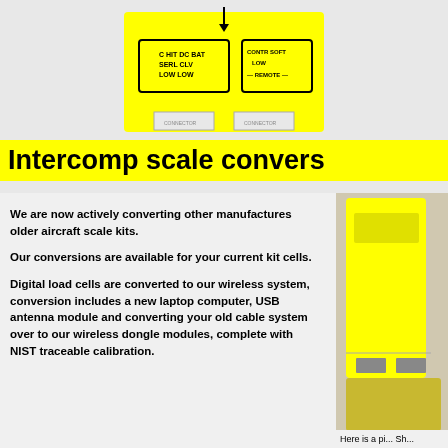[Figure (photo): Yellow electronic device/scale component shown from above on gray background]
Intercomp scale convers
We are now actively converting other manufactures older aircraft scale kits.
Our conversions are available for your current kit cells.
Digital load cells are converted to our wireless system, conversion includes a new laptop computer, USB antenna module and converting your old cable system over to our wireless dongle modules, complete with NIST traceable calibration.
[Figure (photo): Partial photo of yellow scale equipment on right side of page]
Here is a pi... Sh...